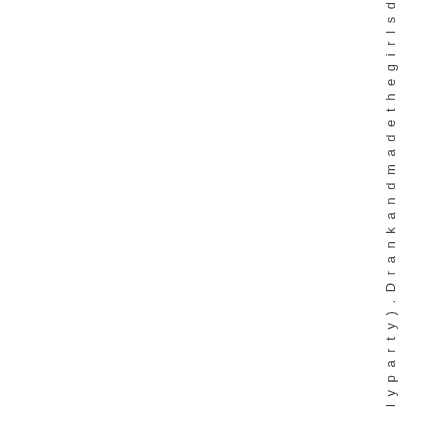l y p a r t y ) . D r a n k a n d m a d e t h e g i r l s d